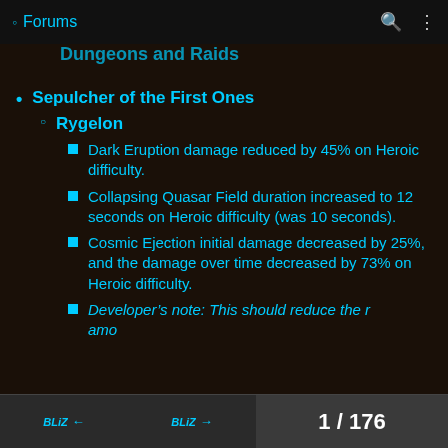Forums
Dungeons and Raids
Sepulcher of the First Ones
Rygelon
Dark Eruption damage reduced by 45% on Heroic difficulty.
Collapsing Quasar Field duration increased to 12 seconds on Heroic difficulty (was 10 seconds).
Cosmic Ejection initial damage decreased by 25%, and the damage over time decreased by 73% on Heroic difficulty.
Developer’s note: This should reduce the r... amo...
1 / 176